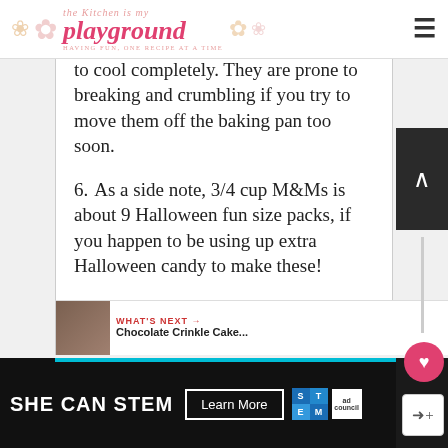the Kitchen is my playground — HAVING FUN, ONE RECIPE AT A TIME
to cool completely. They are prone to breaking and crumbling if you try to move them off the baking pan too soon.
6. As a side note, 3/4 cup M&Ms is about 9 Halloween fun size packs, if you happen to be using up extra Halloween candy to make these!
Created using The Recipes Generator
WHAT'S NEXT → Chocolate Crinkle Cake...
[Figure (advertisement): SHE CAN STEM ad banner with Learn More button, STEM logo, and Ad Council logo on dark background]